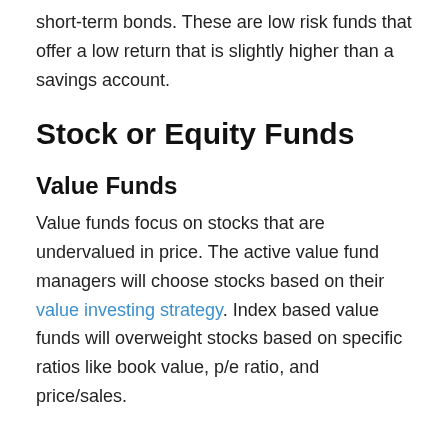short-term bonds. These are low risk funds that offer a low return that is slightly higher than a savings account.
Stock or Equity Funds
Value Funds
Value funds focus on stocks that are undervalued in price. The active value fund managers will choose stocks based on their value investing strategy. Index based value funds will overweight stocks based on specific ratios like book value, p/e ratio, and price/sales.